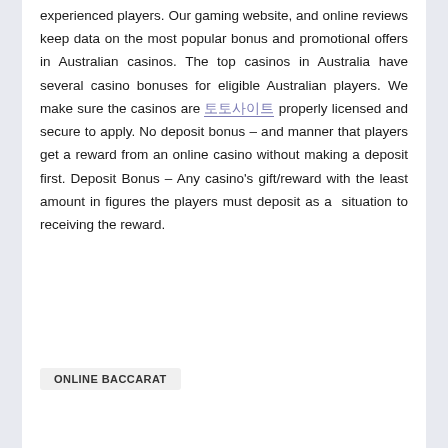experienced players. Our gaming website, and online reviews keep data on the most popular bonus and promotional offers in Australian casinos. The top casinos in Australia have several casino bonuses for eligible Australian players. We make sure the casinos are 토토사이트 properly licensed and secure to apply. No deposit bonus – and manner that players get a reward from an online casino without making a deposit first. Deposit Bonus – Any casino's gift/reward with the least amount in figures the players must deposit as a situation to receiving the reward.
ONLINE BACCARAT